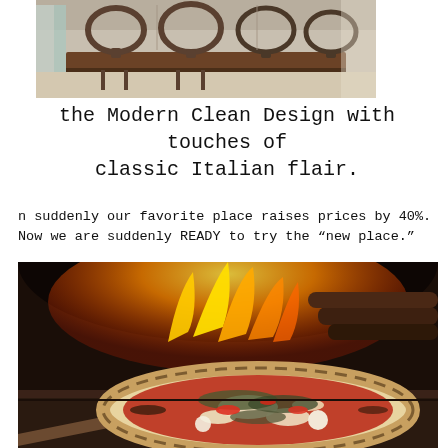[Figure (photo): Interior of a restaurant showing wooden tables and modern curved metal chairs, clean and minimalist design]
the Modern Clean Design with touches of classic Italian flair.
n suddenly our favorite place raises prices by 40%.  Now we are suddenly READY to try the “new place.”
[Figure (photo): A Neapolitan-style pizza being pulled from a wood-fired oven with flames visible in the background]